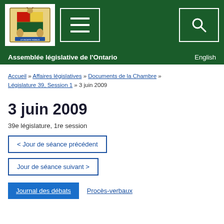[Figure (logo): Ontario Legislative Assembly coat of arms logo in white box, and navigation bar with hamburger menu and search icon on dark green background]
Assemblée législative de l'Ontario   English
Accueil » Affaires législatives » Documents de la Chambre » Législature 39, Session 1 » 3 juin 2009
3 juin 2009
39e législature, 1re session
< Jour de séance précédent
Jour de séance suivant >
Journal des débats   Procès-verbaux